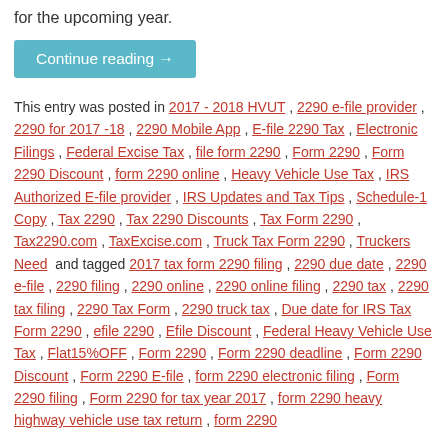for the upcoming year.
Continue reading →
This entry was posted in 2017 - 2018 HVUT , 2290 e-file provider , 2290 for 2017-18 , 2290 Mobile App , E-file 2290 Tax , Electronic Filings , Federal Excise Tax , file form 2290 , Form 2290 , Form 2290 Discount , form 2290 online , Heavy Vehicle Use Tax , IRS Authorized E-file provider , IRS Updates and Tax Tips , Schedule-1 Copy , Tax 2290 , Tax 2290 Discounts , Tax Form 2290 , Tax2290.com , TaxExcise.com , Truck Tax Form 2290 , Truckers Need and tagged 2017 tax form 2290 filing , 2290 due date , 2290 e-file , 2290 filing , 2290 online , 2290 online filing , 2290 tax , 2290 tax filing , 2290 Tax Form , 2290 truck tax , Due date for IRS Tax Form 2290 , efile 2290 , Efile Discount , Federal Heavy Vehicle Use Tax , Flat15%OFF , Form 2290 , Form 2290 deadline , Form 2290 Discount , Form 2290 E-file , form 2290 electronic filing , Form 2290 filing , Form 2290 for tax year 2017 , form 2290 heavy highway vehicle use tax return , form 2290